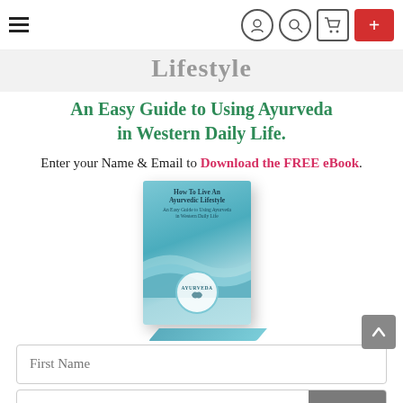Navigation header with hamburger menu, account, search, cart icons, and a red plus button
Lifestyle
An Easy Guide to Using Ayurveda in Western Daily Life.
Enter your Name & Email to Download the FREE eBook.
[Figure (photo): Book cover of 'How To Live An Ayurvedic Lifestyle - An Easy Guide to Using Ayurveda in Western Daily Life' with teal/blue mountain wave design and Ayurveda badge]
First Name
CLOSE